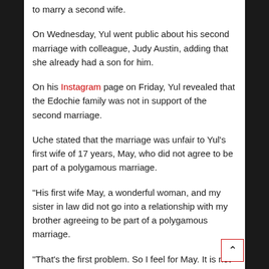to marry a second wife.
On Wednesday, Yul went public about his second marriage with colleague, Judy Austin, adding that she already had a son for him.
On his Instagram page on Friday, Yul revealed that the Edochie family was not in support of the second marriage.
Uche stated that the marriage was unfair to Yul's first wife of 17 years, May, who did not agree to be part of a polygamous marriage.
"His first wife May, a wonderful woman, and my sister in law did not go into a relationship with my brother agreeing to be part of a polygamous marriage.
"That's the first problem. So I feel for May. It is not fair on her. My family is not in support. This is not what we do and